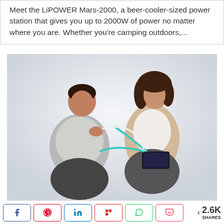Meet the LiPOWER Mars-2000, a beer-cooler-sized power station that gives you up to 2000W of power no matter where you are. Whether you're camping outdoors,...
[Figure (photo): A man and woman sitting on the floor, both holding cables connected to a small LiPOWER Mars-2000 portable power station. The woman holds the black device in her lap on a white/light grey background.]
Share buttons: Facebook, Pinterest, LinkedIn, Flipboard, WhatsApp, Pocket — 2.6K SHARES